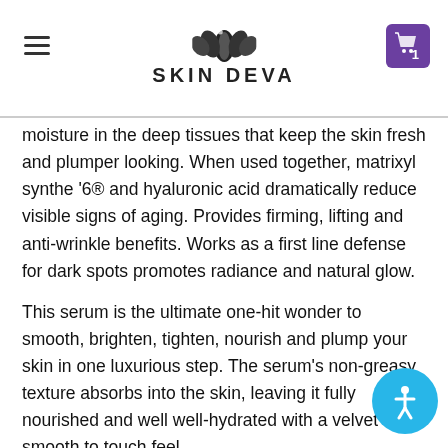SKIN DEVA
moisture in the deep tissues that keep the skin fresh and plumper looking. When used together, matrixyl synthe '6® and hyaluronic acid dramatically reduce visible signs of aging. Provides firming, lifting and anti-wrinkle benefits. Works as a first line defense for dark spots promotes radiance and natural glow.
This serum is the ultimate one-hit wonder to smooth, brighten, tighten, nourish and plump your skin in one luxurious step. The serum's non-greasy texture absorbs into the skin, leaving it fully nourished and well well-hydrated with a velvet smooth to touch feel.
What else you need to know: